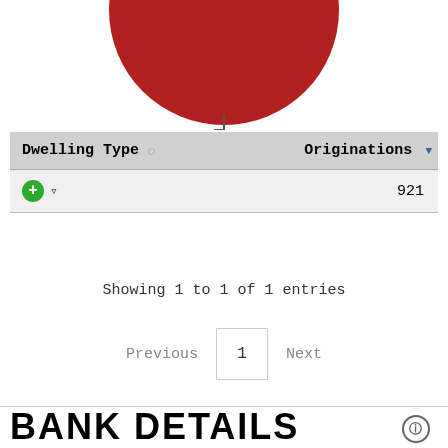[Figure (pie-chart): Partial view of a red pie chart (donut/pie slice), only top portion visible]
| Dwelling Type | Originations |
| --- | --- |
| [+] [filter] | 921 |
Showing 1 to 1 of 1 entries
Previous  1  Next
BANK DETAILS
BRANCHES